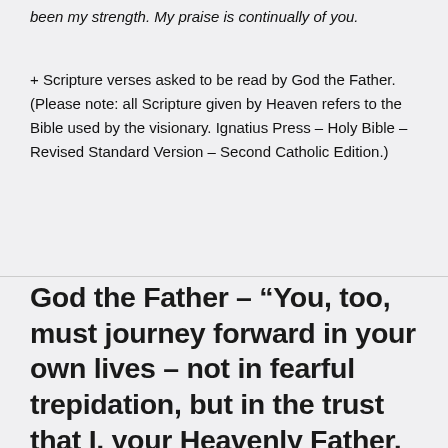been my strength. My praise is continually of you.
+ Scripture verses asked to be read by God the Father. (Please note: all Scripture given by Heaven refers to the Bible used by the visionary. Ignatius Press – Holy Bible – Revised Standard Version – Second Catholic Edition.)
God the Father – “You, too, must journey forward in your own lives – not in fearful trepidation, but in the trust that I, your Heavenly Father, am leading you and providing for you”